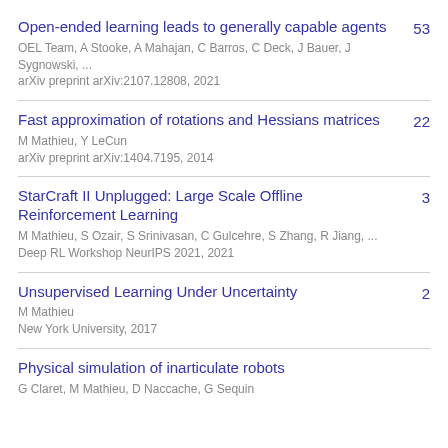Open-ended learning leads to generally capable agents
OEL Team, A Stooke, A Mahajan, C Barros, C Deck, J Bauer, J Sygnowski, ...
arXiv preprint arXiv:2107.12808, 2021
53
Fast approximation of rotations and Hessians matrices
M Mathieu, Y LeCun
arXiv preprint arXiv:1404.7195, 2014
22
StarCraft II Unplugged: Large Scale Offline Reinforcement Learning
M Mathieu, S Ozair, S Srinivasan, C Gulcehre, S Zhang, R Jiang, ...
Deep RL Workshop NeurIPS 2021, 2021
3
Unsupervised Learning Under Uncertainty
M Mathieu
New York University, 2017
2
Physical simulation of inarticulate robots
G Claret, M Mathieu, D Naccache, G Sequin